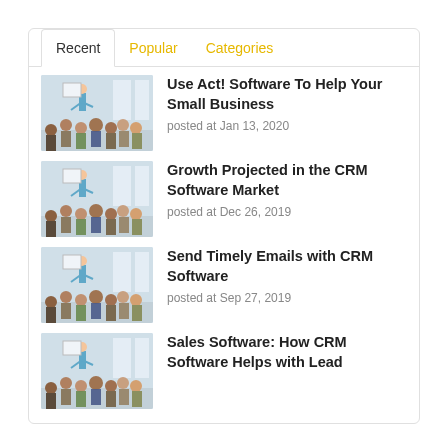Recent | Popular | Categories
[Figure (photo): Classroom presentation scene with speaker at front and audience seated]
Use Act! Software To Help Your Small Business
posted at Jan 13, 2020
[Figure (photo): Classroom presentation scene with speaker at front and audience seated]
Growth Projected in the CRM Software Market
posted at Dec 26, 2019
[Figure (photo): Classroom presentation scene with speaker at front and audience seated]
Send Timely Emails with CRM Software
posted at Sep 27, 2019
[Figure (photo): Classroom presentation scene with speaker at front and audience seated]
Sales Software: How CRM Software Helps with Lead